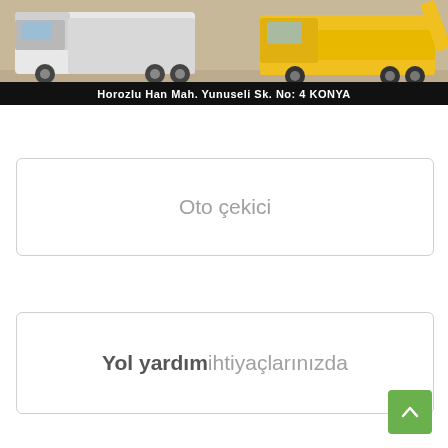[Figure (photo): Banner image showing trucks/tow vehicles with text overlay: 'Horozlu Han Mah. Yunuseli Sk. No: 4 KONYA' on a black bar at the bottom]
Oto çekici
Yol yardımihtiyaçlarınızda